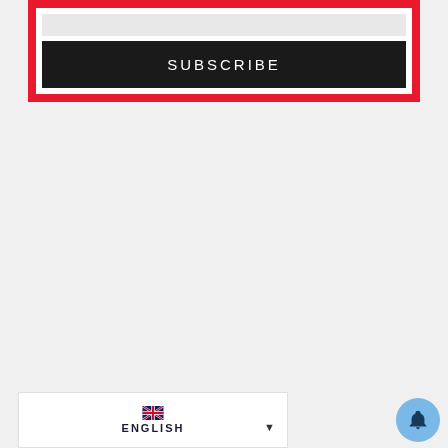[Figure (screenshot): Subscribe widget with a red border frame, containing an input field and a black SUBSCRIBE button with white text in uppercase letters.]
[Figure (screenshot): Language selector box showing UK flag and ENGLISH label with a dropdown arrow, and a notification bell button in the bottom right corner.]